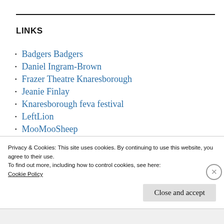LINKS
Badgers Badgers
Daniel Ingram-Brown
Frazer Theatre Knaresborough
Jeanie Finlay
Knaresborough feva festival
LeftLion
MooMooSheep
Privacy & Cookies: This site uses cookies. By continuing to use this website, you agree to their use.
To find out more, including how to control cookies, see here:
Cookie Policy
Close and accept